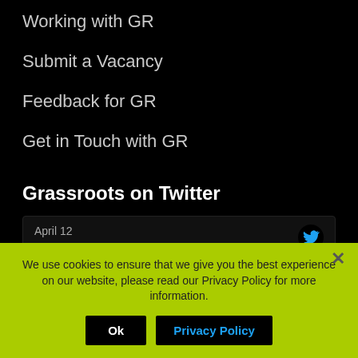Working with GR
Submit a Vacancy
Feedback for GR
Get in Touch with GR
Grassroots on Twitter
April 12
We need YOU. We're have over 80 jobs available on behalf of @StockportNHS, @StockportMBC and #Stockport employers.
We use cookies to ensure that we give you the best experience on our website, please read our Privacy Policy for more information.